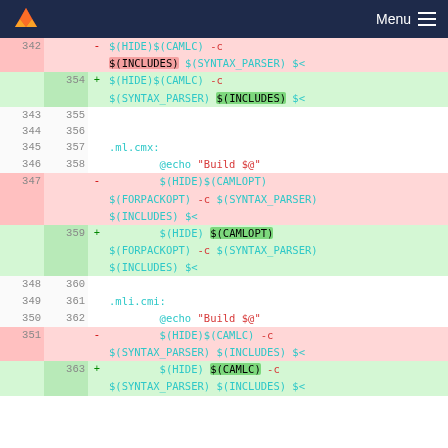Menu
[Figure (screenshot): GitLab diff view showing changes to a Makefile around lines 342-363. Deleted lines (pink background) show old ordering of $(INCLUDES) and $(SYNTAX_PARSER) flags; added lines (green background) show new ordering. Context lines show .ml.cmx: and .mli.cmi: rules with @echo Build $@ commands.]